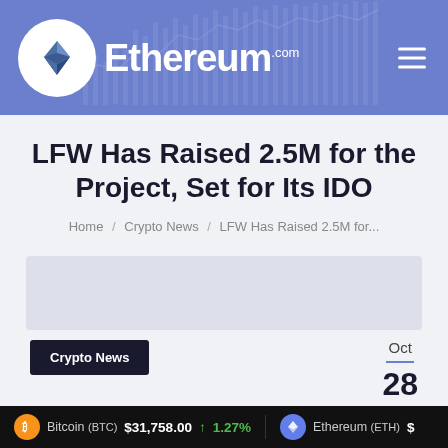Ethereum.com
LFW Has Raised 2.5M for the Project, Set for Its IDO
Home / Crypto News / LFW Has Raised 2.5M for...
Crypto News
Oct 28 2021
Bitcoin (BTC) $31,758.00 ↑ 1.27% Ethereum (ETH) $